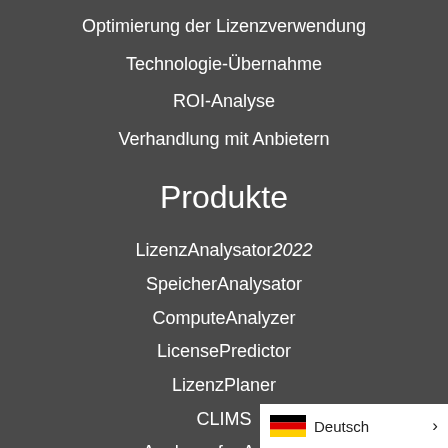Optimierung der Lizenzverwendung
Technologie-Übernahme
ROI-Analyse
Verhandlung mit Anbietern
Produkte
LizenzAnalysator2022
SpeicherAnalysator
ComputeAnalyzer
LicensePredictor
LizenzPlaner
CLIMS
Analyzer for Ansys®
Deutsch